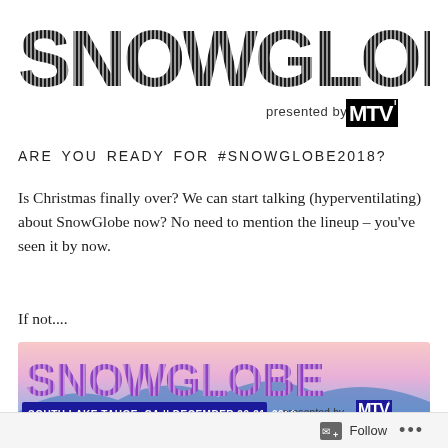[Figure (logo): SnowGlobe festival logo in large bold striped letters, with 'presented by MTV' logo in top right]
ARE YOU READY FOR #SNOWGLOBE2018?
Is Christmas finally over? We can start talking (hyperventilating) about SnowGlobe now? No need to mention the lineup – you've seen it by now.
If not....
[Figure (illustration): SnowGlobe 2018 festival banner with gradient pink/blue background, SNOWGLOBE in large purple striped letters, 'presented by MTV' logo, and text 'SOUTH LAKE TAHOE, CA || DECEMBER 29-31, 2018']
Follow ...